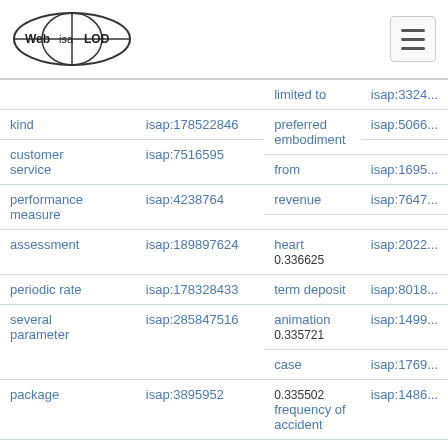Web isa LOD
| term | isap id | related term | isap id |
| --- | --- | --- | --- |
| limited to |  |  | isap:3324... |
| kind | isap:178522846 | preferred embodiment | isap:5066... |
| customer service | isap:7516595 | from | isap:1695... |
| performance measure | isap:4238764 | revenue | isap:7647... |
| assessment | isap:189897624 | heart
0.336625 | isap:2022... |
| periodic rate | isap:178328433 | term deposit | isap:8018... |
| several parameter | isap:285847516 | animation
0.335721 | isap:1499... |
|  |  | case | isap:1769... |
| package | isap:3895952 | 0.335502
frequency of accident | isap:1486... |
| anything | isap:459872713 | 0.335387 |  |
| reasonable rate | isap:178328524 | delay | isap:2038... |